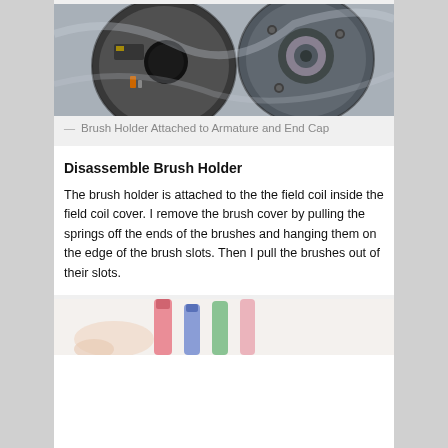[Figure (photo): Photo of a disassembled electric motor showing brush holder attached to armature and end cap components on a metallic surface]
— Brush Holder Attached to Armature and End Cap
Disassemble Brush Holder
The brush holder is attached to the the field coil inside the field coil cover. I remove the brush cover by pulling the springs off the ends of the brushes and hanging them on the edge of the brush slots. Then I pull the brushes out of their slots.
[Figure (photo): Photo showing colorful markers or pens, partially visible at bottom of page]